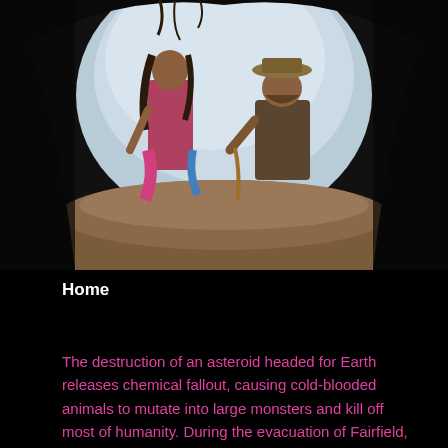[Figure (photo): A dramatic upward shot from inside a hole in the ground looking up at a young girl in colorful clothing and a bearded man wearing a wide-brimmed hat who is crouching and holding a rope, with bright sky visible through the circular opening.]
Home
The destruction of an asteroid headed for Earth releases chemical fallout, causing cold-blooded animals to mutate into large monsters and kill off most of humanity. During the evacuation of Fairfield, Joel Dawson is separated from his girlfriend Aimee but promises to find her, shortly before his